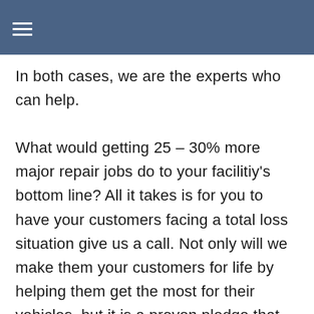In both cases, we are the experts who can help.

What would getting 25 – 30% more major repair jobs do to your facilitiy's bottom line? All it takes is for you to have your customers facing a total loss situation give us a call. Not only will we make them your customers for life by helping them get the most for their vehicles, but it is a proven pledge that you